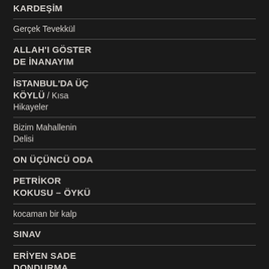KARDEŞİM
Gerçek Tevekkül
ALLAH'I GÖSTER DE İNANAYIM
İSTANBUL'DA ÜÇ KÖYLÜ / Kısa Hikayeler
Bizim Mahallenin Delisi
ON ÜÇÜNCÜ ODA
PETRİKOR KOKUSU – ÖYKÜ
kocaman bir kalp
SINAV
ERİYEN SADE DONDURMA
Yaramaz Kardeş